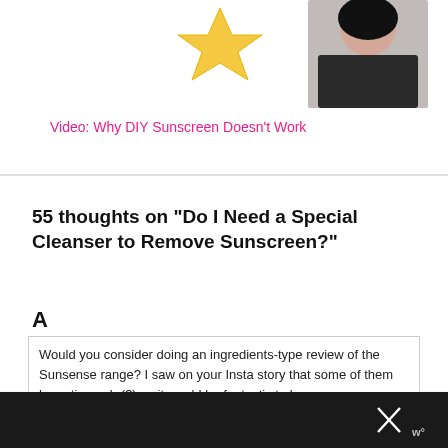[Figure (illustration): Top portion showing a yellow star ribbon/badge icon and a person with dark hair against white background]
Video: Why DIY Sunscreen Doesn't Work
55 thoughts on “Do I Need a Special Cleanser to Remove Sunscreen?”
A
Would you consider doing an ingredients-type review of the Sunsense range? I saw on your Insta story that some of them have tinosorb (?) so it would be fantastic to know what the difference is between each. I mean, some of
[Figure (screenshot): Dark overlay bar at bottom with close X button and W logo]